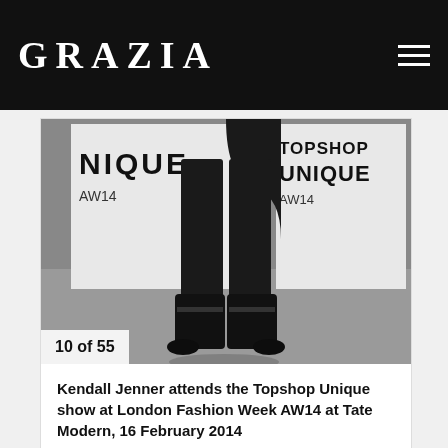GRAZIA
[Figure (photo): Photo of Kendall Jenner's legs in black leather pants and black pointed-toe western boots, standing in front of a Topshop Unique AW14 branded backdrop at London Fashion Week.]
10 of 55
Kendall Jenner attends the Topshop Unique show at London Fashion Week AW14 at Tate Modern, 16 February 2014